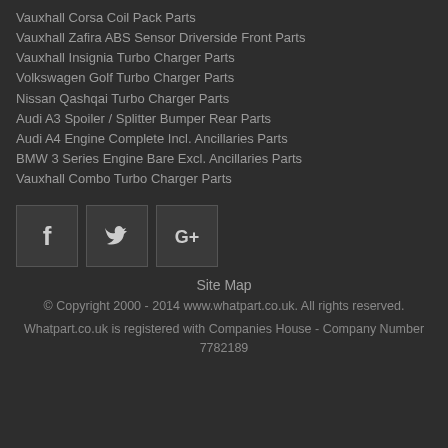Vauxhall Corsa Coil Pack Parts
Vauxhall Zafira ABS Sensor Driverside Front Parts
Vauxhall Insignia Turbo Charger Parts
Volkswagen Golf Turbo Charger Parts
Nissan Qashqai Turbo Charger Parts
Audi A3 Spoiler / Splitter Bumper Rear Parts
Audi A4 Engine Complete Incl. Ancillaries Parts
BMW 3 Series Engine Bare Excl. Ancillaries Parts
Vauxhall Combo Turbo Charger Parts
[Figure (illustration): Three social media icon boxes: Facebook (f), Twitter (bird), Google+ (G+)]
Site Map
© Copyright 2000 - 2014 www.whatpart.co.uk. All rights reserved.
Whatpart.co.uk is registered with Companies House - Company Number 7782189